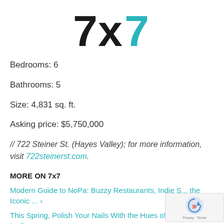[Figure (logo): 7x7 logo with black '7x' and teal '7' letterforms]
Bedrooms: 6
Bathrooms: 5
Size: 4,831 sq. ft.
Asking price: $5,750,000
// 722 Steiner St. (Hayes Valley); for more information, visit 722steinerst.com.
MORE ON 7x7
Modern Guide to NoPa: Buzzy Restaurants, Indie S... the Iconic ... ›
This Spring, Polish Your Nails With the Hues of SF's Painted Ladies ... ›